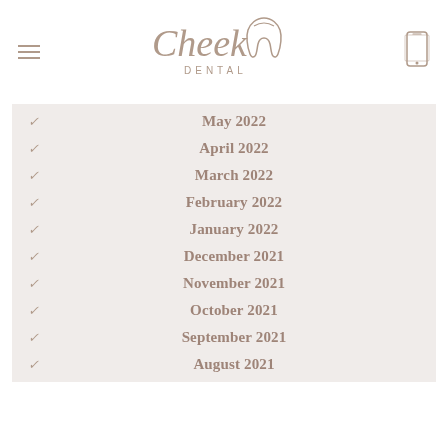[Figure (logo): Cheek Dental logo with stylized script text and tooth icon]
May 2022
April 2022
March 2022
February 2022
January 2022
December 2021
November 2021
October 2021
September 2021
August 2021